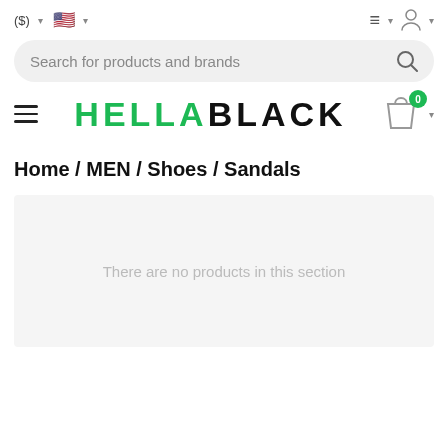($) ▾  🇺🇸 ▾   ≡ ▾  👤 ▾
Search for products and brands
HELLA BLACK
Home / MEN / Shoes / Sandals
There are no products in this section